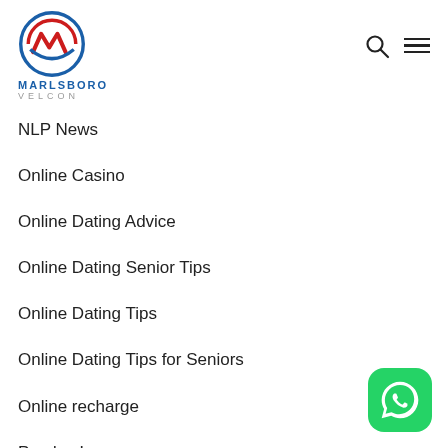[Figure (logo): Marlsboro Velcon logo with circular red and blue M icon, text MARLSBORO in blue and VELCON in grey below]
NLP News
Online Casino
Online Dating Advice
Online Dating Senior Tips
Online Dating Tips
Online Dating Tips for Seniors
Online recharge
Payday Loans
[Figure (logo): WhatsApp green rounded square icon with white phone/chat bubble logo]